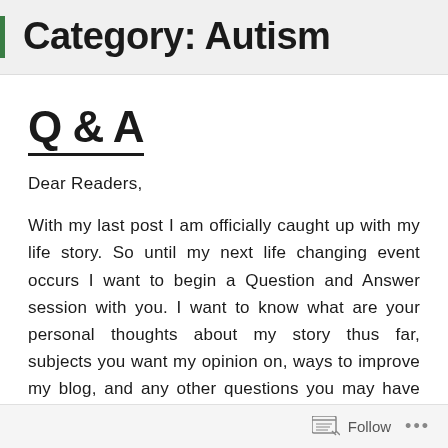Category: Autism
Q & A
Dear Readers,
With my last post I am officially caught up with my life story. So until my next life changing event occurs I want to begin a Question and Answer session with you. I want to know what are your personal thoughts about my story thus far, subjects you want my opinion on, ways to improve my blog, and any other questions you may have for me. I'm
Follow ...